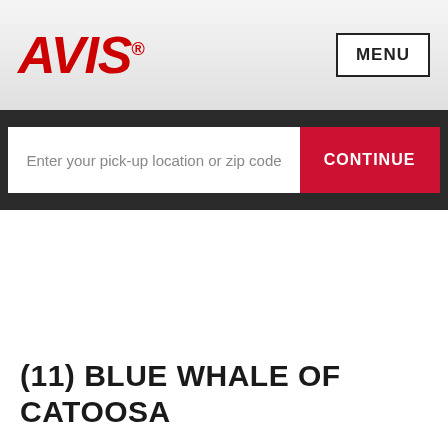AVIS
Enter your pick-up location or zip code
CONTINUE
(11) BLUE WHALE OF CATOOSA